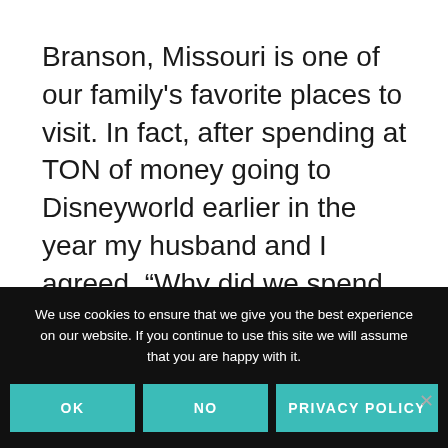Branson, Missouri is one of our family's favorite places to visit. In fact, after spending at TON of money going to Disneyworld earlier in the year my husband and I agreed, “Why did we spend all that money in Orlando when we could have just gone to Branson?”
There are a few reasons why
We use cookies to ensure that we give you the best experience on our website. If you continue to use this site we will assume that you are happy with it.